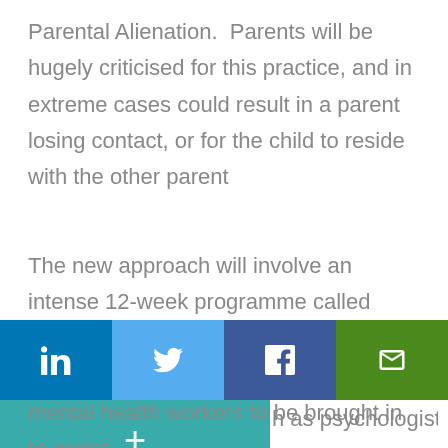Parental Alienation.  Parents will be hugely criticised for this practice, and in extreme cases could result in a parent losing contact, or for the child to reside with the other parent
The new approach will involve an intense 12-week programme called ‘positive parenting’ which is designed to help  the alienating parent break their
[Figure (infographic): Social media share buttons bar: LinkedIn (blue), Twitter (light blue), Facebook (dark blue), Email (green); below left a teal plus/more button]
h as psychologists, psychiatrists and mental health workers to be brought in to assist.
Ultimately the alienating parent may have to face